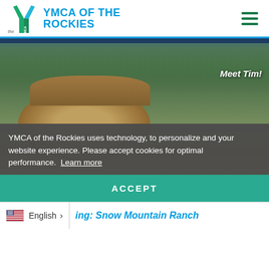[Figure (logo): YMCA of the Rockies logo — Y chevron mark in teal/green gradient with 'the' in grey and 'YMCA OF THE ROCKIES' in blue text]
[Figure (photo): Person wearing a Colorado cap and face mask, outdoors among pine trees, overcast sky. Part of a selfie-style photo.]
Meet Tim!
YMCA of the Rockies uses technology, to personalize and your website experience. Please accept cookies for optimal performance. Learn more
ACCEPT
English >
ing: Snow Mountain Ranch